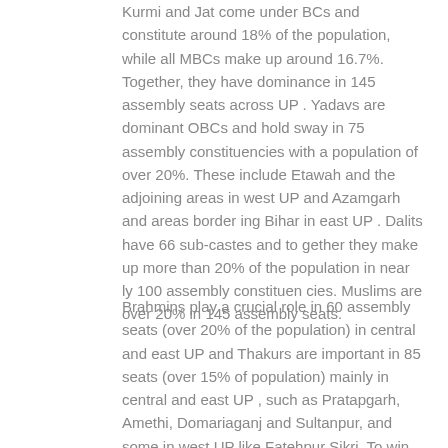Kurmi and Jat come under BCs and constitute around 18% of the population, while all MBCs make up around 16.7%. Together, they have dominance in 145 assembly seats across UP . Yadavs are dominant OBCs and hold sway in 75 assembly constituencies with a population of over 20%. These include Etawah and the adjoining areas in west UP and Azamgarh and areas border ing Bihar in east UP . Dalits have 66 sub-castes and to gether they make up more than 20% of the population in near ly 100 assembly constituen cies. Muslims are over 20% in 145 assembly seats.
Brahmins play a crucial role in 60 assembly seats (over 20% of the population) in central and east UP and Thakurs are important in 85 seats (over 15% of population) mainly in central and east UP , such as Pratapgarh, Amethi, Domariaganj and Sultanpur, and some in west UP like Fatehpur Sikri. To win an election, a party needs at least 30% of the total votes, which cannot be achieved through one caste alone. Parties thus cobble up caste and